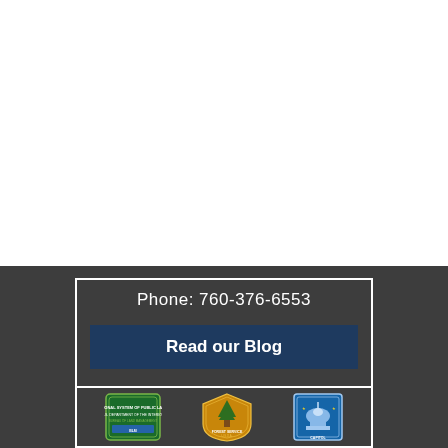Phone: 760-376-6553
Read our Blog
[Figure (logo): Three government agency logos: BLM (Bureau of Land Management), US Forest Service, and a Capitol building badge]